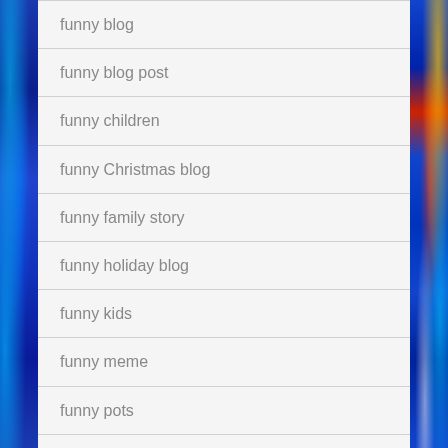funny blog
funny blog post
funny children
funny Christmas blog
funny family story
funny holiday blog
funny kids
funny meme
funny pots